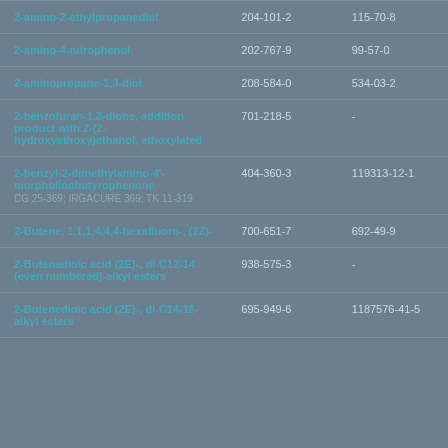| Name | EC Number | CAS Number |
| --- | --- | --- |
| 2-amino-2-ethylpropanediol | 204-101-2 | 115-70-8 |
| 2-amino-4-nitrophenol | 202-767-9 | 99-57-0 |
| 2-aminopropane-1,3-diol | 208-584-0 | 534-03-2 |
| 2-benzofuran-1,3-dione, addition product with 2-(2-hydroxyethoxy)ethanol, ethoxylated | 701-218-5 | - |
| 2-benzyl-2-dimethylamino-4'-morpholinobutyrophenone
CG 25-369; IRGACURE 369; TK 11-319 | 404-360-3 | 119313-12-1 |
| 2-Butene, 1,1,1,4,4,4-hexafluoro-, (2Z)- | 700-651-7 | 692-49-9 |
| 2-Butenedioic acid (2E)-, di-C12-14 (even numbered)-alkyl esters | 938-575-3 | - |
| 2-Butenedioic acid (2E)-, di-C14-16-alkyl esters | 695-949-6 | 1187576-41-5 |